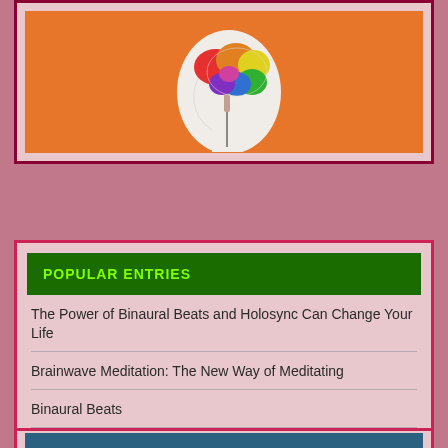[Figure (illustration): Colorful brain illustration on an orange background, showing a side profile of a human head with a rainbow-colored brain]
POPULAR ENTRIES
The Power of Binaural Beats and Holosync Can Change Your Life
Brainwave Meditation: The New Way of Meditating
Binaural Beats
Hypnosis and the Unlimited Power of the Mind
Meditation Secrets
[Figure (other): Partial view of a teal/dark blue rectangular image at the bottom of the page]